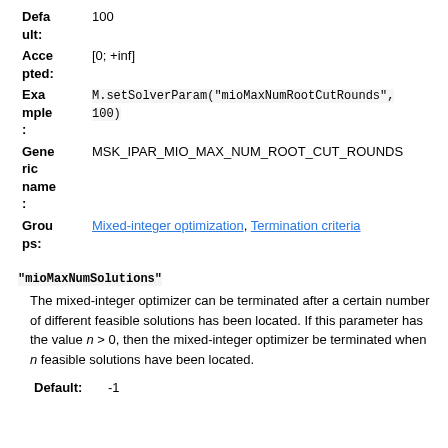| Label | Value |
| --- | --- |
| Default: | 100 |
| Accepted: | [0; +inf] |
| Example: | M.setSolverParam("mioMaxNumRootCutRounds", 100) |
| Generic name: | MSK_IPAR_MIO_MAX_NUM_ROOT_CUT_ROUNDS |
| Groups: | Mixed-integer optimization, Termination criteria |
"mioMaxNumSolutions"
The mixed-integer optimizer can be terminated after a certain number of different feasible solutions has been located. If this parameter has the value n > 0, then the mixed-integer optimizer be terminated when n feasible solutions have been located.
| Label | Value |
| --- | --- |
| Default: | -1 |